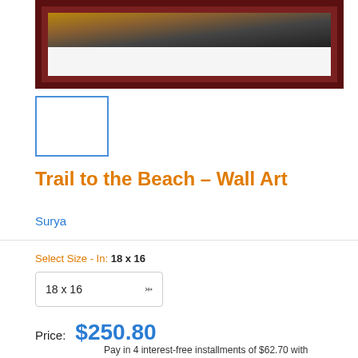[Figure (photo): Framed wall art photograph showing trail scene with warm natural tones, displayed in dark mahogany frame with white mat]
[Figure (photo): Small thumbnail image of the wall art, selected/highlighted with blue border]
Trail to the Beach - Wall Art
Surya
Select Size - In: 18 x 16
18 x 16
Price: $250.80
Pay in 4 interest-free installments of $62.70 with